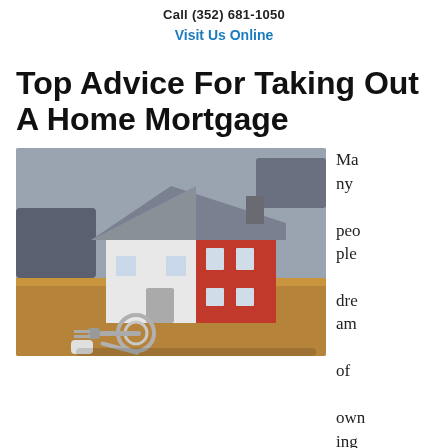Call (352) 681-1050
Visit Us Online
Top Advice For Taking Out A Home Mortgage
[Figure (photo): A miniature red and white house model with a gray roof sits on a wooden surface alongside a set of keys on a keyring, with a blurred office background.]
Many people dream of owning